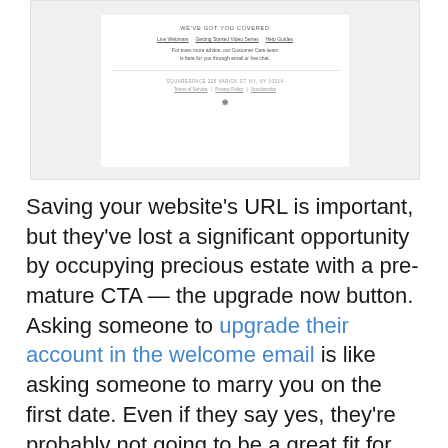[Figure (screenshot): Screenshot of a Squarespace email footer showing 'WE'VE GOT YOU COVERED' heading, links for Live Webinars, Getting Started Video Series, Help Guides, a support message, address (SQUARESPACE 225 VARICK ST, NY, NY 10014), Terms of Service, Privacy Policy, Unsubscribe links, and a Squarespace logo icon.]
Saving your website's URL is important, but they've lost a significant opportunity by occupying precious estate with a pre-mature CTA — the upgrade now button. Asking someone to upgrade their account in the welcome email is like asking someone to marry you on the first date. Even if they say yes, they're probably not going to be a great fit for you.